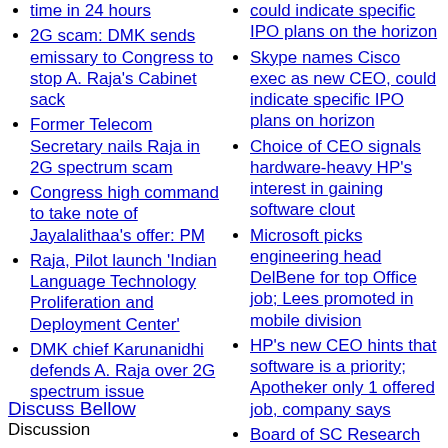time in 24 hours
2G scam: DMK sends emissary to Congress to stop A. Raja's Cabinet sack
Former Telecom Secretary nails Raja in 2G spectrum scam
Congress high command to take note of Jayalalithaa's offer: PM
Raja, Pilot launch 'Indian Language Technology Proliferation and Deployment Center'
DMK chief Karunanidhi defends A. Raja over 2G spectrum issue
could indicate specific IPO plans on the horizon
Skype names Cisco exec as new CEO, could indicate specific IPO plans on horizon
Choice of CEO signals hardware-heavy HP's interest in gaining software clout
Microsoft picks engineering head DelBene for top Office job; Lees promoted in mobile division
HP's new CEO hints that software is a priority; Apotheker only 1 offered job, company says
Board of SC Research Authority approves 6.5 percent pay raises for workers
Discuss Bellow
Discussion